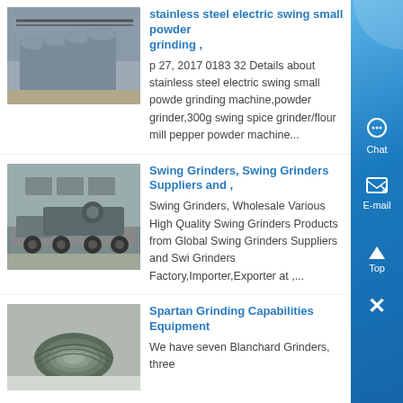[Figure (photo): Industrial cylindrical metal equipment/tanks in a factory setting]
stainless steel electric swing small powder grinding ,
p 27, 2017 0183 32 Details about stainless steel electric swing small powder grinding machine,powder grinder,300g swing spice grinder/flour mill pepper powder machine...
[Figure (photo): Large industrial grinding/crushing machinery on a truck flatbed outside a building]
Swing Grinders, Swing Grinders Suppliers and ,
Swing Grinders, Wholesale Various High Quality Swing Grinders Products from Global Swing Grinders Suppliers and Swing Grinders Factory,Importer,Exporter at ,...
[Figure (photo): Rolled dark rubber or metal sheet material]
Spartan Grinding Capabilities Equipment
We have seven Blanchard Grinders, three